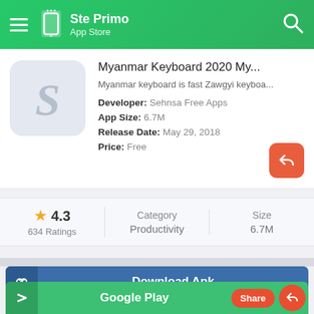Ste Primo App Store
Myanmar Keyboard 2020 My...
Myanmar keyboard is fast Zawgyi keyboa...
Developer: Sehnsa Free Apps
App Size: 6.7M
Release Date: May 29, 2018
Price: Free
4.3
634 Ratings
Category
Productivity
Size
6.7M
Download Apk
Google Play